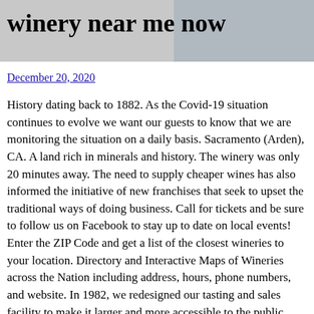[Figure (photo): Header image with a person in the background and bold text overlay reading 'winery near me now']
December 20, 2020
History dating back to 1882. As the Covid-19 situation continues to evolve we want our guests to know that we are monitoring the situation on a daily basis. Sacramento (Arden), CA. A land rich in minerals and history. The winery was only 20 minutes away. The need to supply cheaper wines has also informed the initiative of new franchises that seek to upset the traditional ways of doing business. Call for tickets and be sure to follow us on Facebook to stay up to date on local events! Enter the ZIP Code and get a list of the closest wineries to your location. Directory and Interactive Maps of Wineries across the Nation including address, hours, phone numbers, and website. In 1982, we redesigned our tasting and sales facility to make it larger and more accessible to the public. Home Services. Wine Club AFTER 10 YEARS of making wine in the Walla Walla Valley and a tremendous amount of support from our incredible customers, we … Create a searchable profile 3. You can ship to 10 addresses per order and we can include a note card. Open Monday - Saturday, 10 a.m. - 5p.m. Sophisticated and supple, our wines both elegantly accompany formal occasions and also stand refreshingly on their own. Small